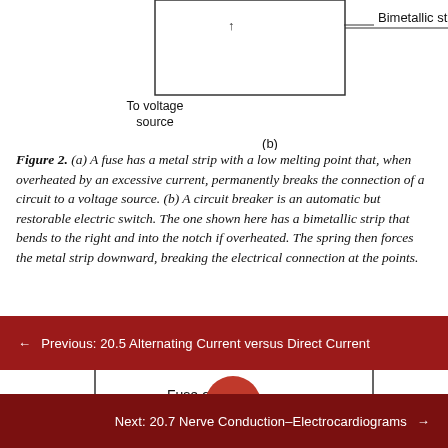[Figure (engineering-diagram): Top portion of a circuit breaker diagram showing a bimetallic strip label with an arrow pointing right, and 'To voltage source' label at lower left. A rectangular box is partially shown at top.]
Figure 2. (a) A fuse has a metal strip with a low melting point that, when overheated by an excessive current, permanently breaks the connection of a circuit to a voltage source. (b) A circuit breaker is an automatic but restorable electric switch. The one shown here has a bimetallic strip that bends to the right and into the notch if overheated. The spring then forces the metal strip downward, breaking the electrical connection at the points.
[Figure (engineering-diagram): Bottom portion of figure showing fuse and circuit breaker diagram with coiled spring symbol and rectangular box outline, labeled 'Fuse or circuit breaker'. A circular red up-arrow button overlay is visible.]
← Previous: 20.5 Alternating Current versus Direct Current
Next: 20.7 Nerve Conduction–Electrocardiograms →